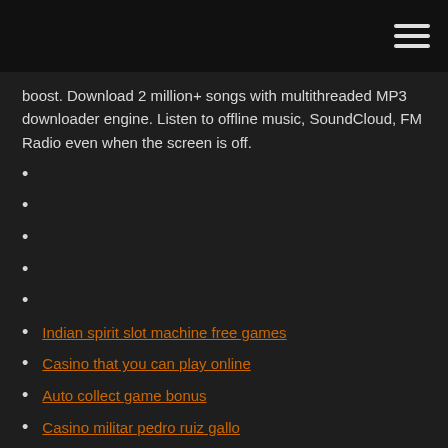boost. Download 2 million+ songs with multithreaded MP3 downloader engine. Listen to offline music, SoundCloud, FM Radio even when the screen is off.
Indian spirit slot machine free games
Casino that you can play online
Auto collect game bonus
Casino militar pedro ruiz gallo
Casino boat near tampa fl